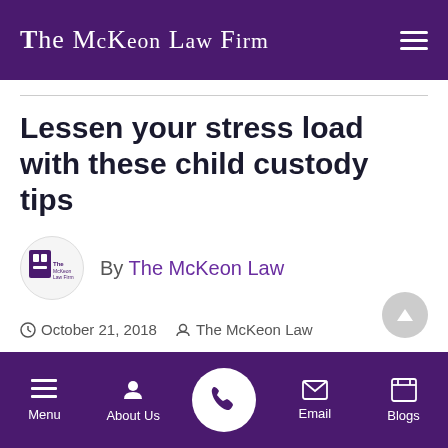The McKeon Law Firm
Lessen your stress load with these child custody tips
By The McKeon Law
October 21, 2018  The McKeon Law  Child Custody  0 Comments
Divorce has a way of bringing extreme levels of stress into your life. This is eve
Menu  About Us  [Call]  Email  Blogs